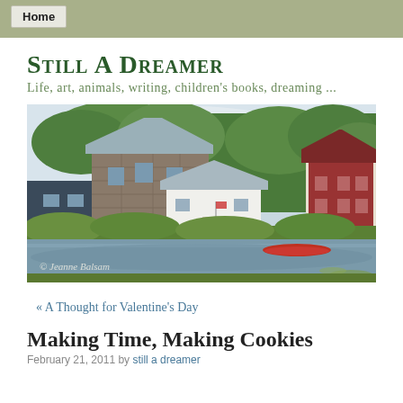Home
Still A Dreamer
Life, art, animals, writing, children's books, dreaming ...
[Figure (photo): Scenic landscape photograph showing a stone mill building and a white house on the bank of a calm pond or river, with lush green trees behind, a red barn structure on the right, and a red canoe on the water. Copyright watermark reads '© Jeanne Balsam']
« A Thought for Valentine's Day
Making Time, Making Cookies
February 21, 2011 by still a dreamer